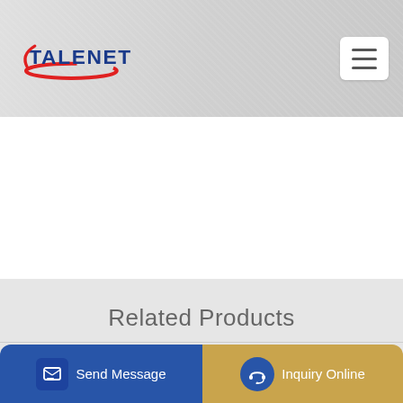TALENET
Related Products
35m3 h Mobile Concrete Plant-haomei YHZS25
IVECO TRAKER 450 concrete mixer truck for sale Lithuania Kauna
Send Message
Inquiry Online